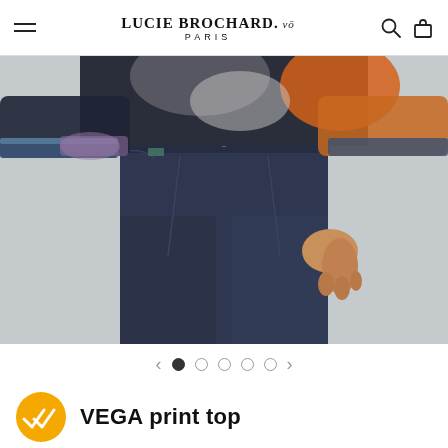LUCIE BROCHARD. vō PARIS
[Figure (photo): Fashion product photo: model wearing dark navy wide-leg trousers with a colorful printed top with orange, gray, and blue tones. Shot from waist to mid-calf against a light gray background.]
< • ○ ○ ○ ○ >
VEGA print top